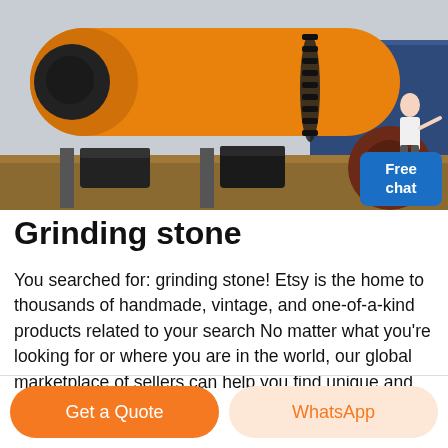[Figure (photo): Large yellow/orange industrial grinding drum mill machine on a flat-bed platform outdoors, with gears and motor visible. A person in white coat stands to the right.]
Grinding stone
You searched for: grinding stone! Etsy is the home to thousands of handmade, vintage, and one-of-a-kind products related to your search No matter what you're looking for or where you are in the world, our global marketplace of sellers can help you find unique and affordable options.
Get a Quote
WhatsApp